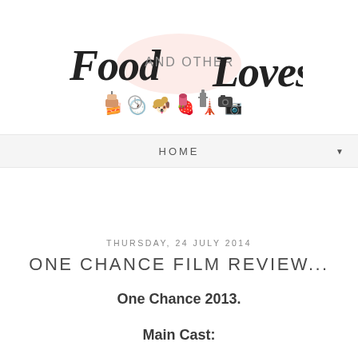[Figure (logo): Food AND OTHER Loves blog logo with cursive script text and small icons including cake, clock, dog, mixer, Big Ben, and camera]
HOME
THURSDAY, 24 JULY 2014
ONE CHANCE FILM REVIEW...
One Chance 2013.
Main Cast: